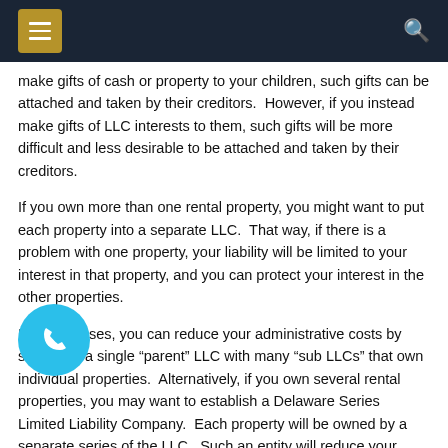Menu | Search
make gifts of cash or property to your children, such gifts can be attached and taken by their creditors.  However, if you instead make gifts of LLC interests to them, such gifts will be more difficult and less desirable to be attached and taken by their creditors.
If you own more than one rental property, you might want to put each property into a separate LLC.  That way, if there is a problem with one property, your liability will be limited to your interest in that property, and you can protect your interest in the other properties.
In some cases, you can reduce your administrative costs by setting up a single “parent” LLC with many “sub LLCs” that own individual properties.  Alternatively, if you own several rental properties, you may want to establish a Delaware Series Limited Liability Company.  Each property will be owned by a separate series of the LLC.  Such an entity will reduce your administrative costs (filing fees and tax returns) while providing you with asset protection for each property owned by each series.
It is possible to set up an LLC on your own. However, as you can see from this article, it is best to consult with an attorney and a